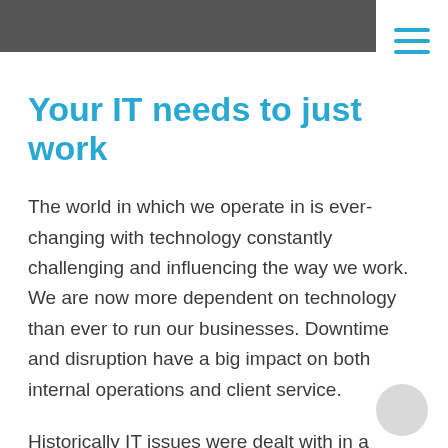Your IT needs to just work
The world in which we operate in is ever-changing with technology constantly challenging and influencing the way we work. We are now more dependent on technology than ever to run our businesses. Downtime and disruption have a big impact on both internal operations and client service.
Historically IT issues were dealt with in a reactive manner, simple fixing problems as they arose. The landscape has changed – businesses simply can't afford system downtime! A good technology solution runs in the background and is often not given a second